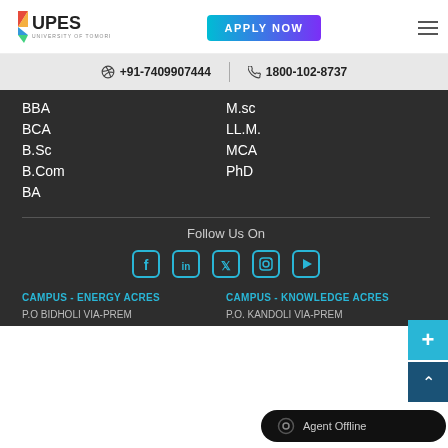[Figure (logo): UPES University of Tomorrow logo with colored geometric icon]
APPLY NOW
+91-7409907444
1800-102-8737
BBA
BCA
B.Sc
B.Com
BA
M.sc
LL.M.
MCA
PhD
Follow Us On
[Figure (infographic): Social media icons: Facebook, LinkedIn, Twitter, Instagram, YouTube]
CAMPUS - ENERGY ACRES
CAMPUS - KNOWLEDGE ACRES
P.O BIDHOLI VIA-PREM
P.O. KANDOLI VIA-PREM